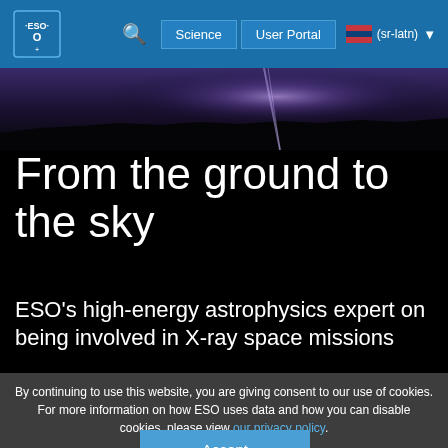ESO Science User Portal (sr-latn)
[Figure (photo): Dark night sky photograph showing a glowing cosmic light source — likely a laser or atmospheric phenomenon — against a deep space background with purple/blue hues]
From the ground to the sky
ESO's high-energy astrophysics expert on being involved in X-ray space missions
By continuing to use this website, you are giving consent to our use of cookies.
For more information on how ESO uses data and how you can disable cookies, please view our privacy policy.
Accept